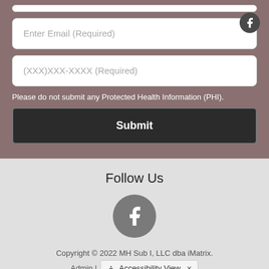[Figure (screenshot): Partial white input bar at top]
Enter Email (Required)
(XXX)XXX-XXXX (Required)
Please do not submit any Protected Health Information (PHI).
Submit
Follow Us
[Figure (logo): Facebook icon circle in Follow Us section]
Copyright © 2022 MH Sub I, LLC dba iMatrix.
Admin |
Accessibility View ×